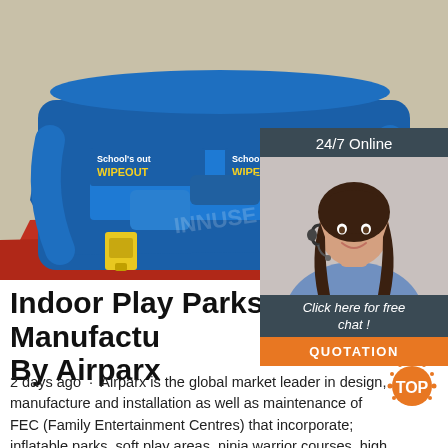[Figure (photo): Blue inflatable wipeout arena with text 'School's out WIPEOUT' on multiple panels, outdoors on a red mat, with a yellow control unit on the side.]
[Figure (photo): Online chat widget showing a woman with a headset smiling, with '24/7 Online' header, 'Click here for free chat!' text, and an orange QUOTATION button.]
Indoor Play Parks Manufactured By Airparx
2 days ago · Airparx is the global market leader in design, manufacture and installation as well as maintenance of FEC (Family Entertainment Centres) that incorporate; inflatable parks, soft play areas, ninja warrior courses, high rope adventures, fun climbing walls and bouldering wall experiences.
[Figure (logo): Orange 'TOP' badge with dot decoration.]